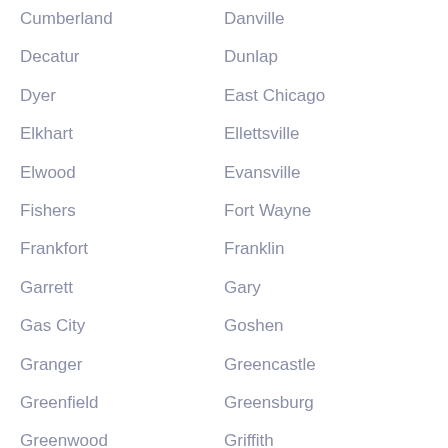Cumberland
Danville
Decatur
Dunlap
Dyer
East Chicago
Elkhart
Ellettsville
Elwood
Evansville
Fishers
Fort Wayne
Frankfort
Franklin
Garrett
Gary
Gas City
Goshen
Granger
Greencastle
Greenfield
Greensburg
Greenwood
Griffith
Hammond
Hartford City
Hidden Valley
Highland
Hobart
Huntertown